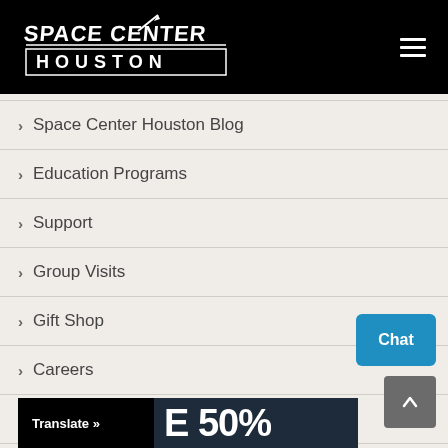Space Center Houston
Space Center Houston Blog
Education Programs
Support
Group Visits
Gift Shop
Careers
Privacy Policy
[Figure (screenshot): Chat button (blue) and back-to-top arrow button (gray)]
[Figure (screenshot): Bottom banner with Translate button and '50%' promotional text on dark background]